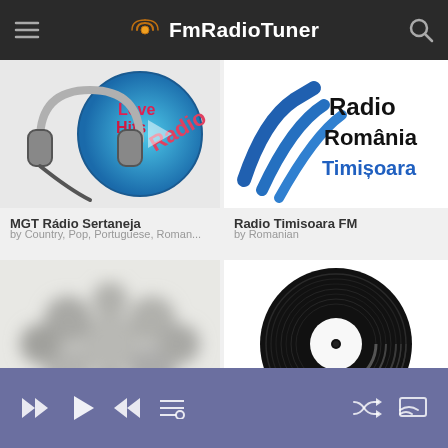FmRadioTuner
[Figure (logo): MGT Rádio Sertaneja logo with headphones and Love Hits text]
MGT Rádio Sertaneja
by Country, Pop, Portuguese, Roman...
[Figure (logo): Radio România Timișoara logo with blue waves]
Radio Timisoara FM
by Romanian
[Figure (photo): Blurred gray flower/abstract image]
[Figure (illustration): Black vinyl record disc illustration]
Media player controls bar